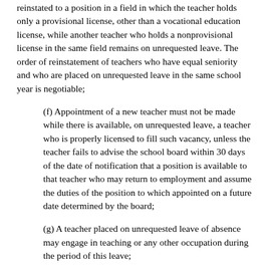reinstated to a position in a field in which the teacher holds only a provisional license, other than a vocational education license, while another teacher who holds a nonprovisional license in the same field remains on unrequested leave. The order of reinstatement of teachers who have equal seniority and who are placed on unrequested leave in the same school year is negotiable;
(f) Appointment of a new teacher must not be made while there is available, on unrequested leave, a teacher who is properly licensed to fill such vacancy, unless the teacher fails to advise the school board within 30 days of the date of notification that a position is available to that teacher who may return to employment and assume the duties of the position to which appointed on a future date determined by the board;
(g) A teacher placed on unrequested leave of absence may engage in teaching or any other occupation during the period of this leave;
(h) The unrequested leave of absence must not impair the continuing contract rights of a teacher or result in a loss of credit for previous years of service;